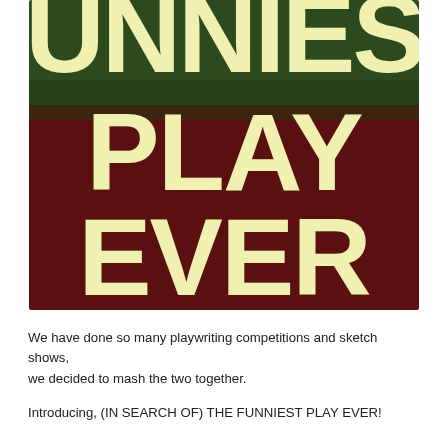[Figure (illustration): Promotional poster image showing large bold cream/yellow text 'FUNNIEST PLAY EVER' on a dark green and dark red/maroon background. The top of the image shows partial letters from above. 'PLAY' appears in the middle section against dark green, and 'EVER' appears in the lower section against dark maroon.]
We have done so many playwriting competitions and sketch shows, we decided to mash the two together.
Introducing, (IN SEARCH OF) THE FUNNIEST PLAY EVER!